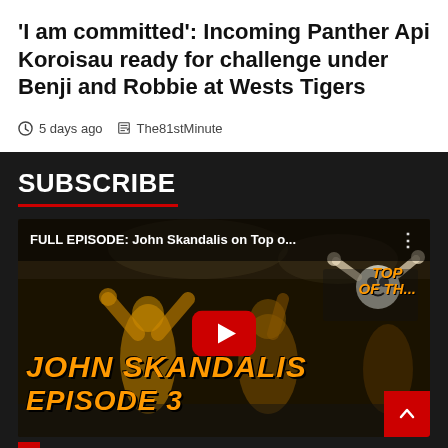'I am committed': Incoming Panther Api Koroisau ready for challenge under Benji and Robbie at Wests Tigers
5 days ago   The81stMinute
SUBSCRIBE
[Figure (screenshot): YouTube video thumbnail for 'FULL EPISODE: John Skandalis on Top o...' showing John Skandalis episode 3 with orange text overlay and a red YouTube play button in the center.]